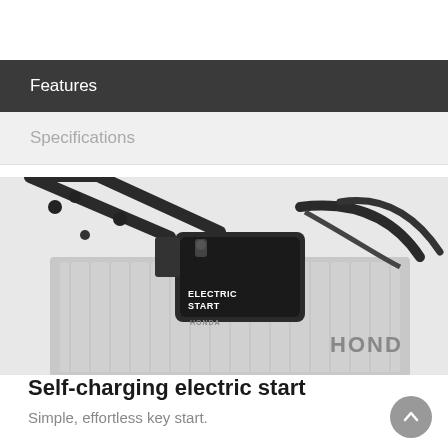Features
Specifications
[Figure (photo): Close-up photo of a Honda lawn mower handle area showing the electric start button/module labeled 'ELECTRIC START' with Honda branding, and the mower body partially visible below]
Self-charging electric start
Simple, effortless key start.